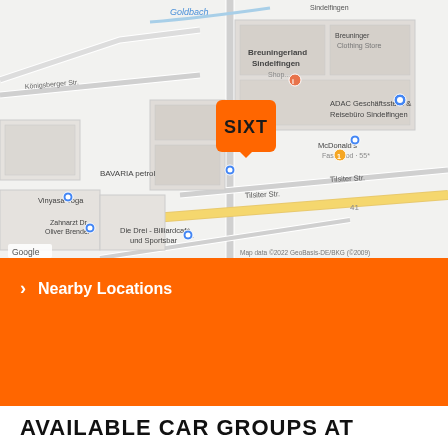[Figure (map): Google Maps screenshot showing Sindelfingen area with a Sixt car rental location marker (orange pin with Sixt logo). Nearby landmarks include Breuningerland Sindelfingen, ADAC Geschäftsstelle & Reisebüro Sindelfingen, McDonald's, BAVARIA petrol, Vinyasa Yoga, Zahnarzt Dr. Oliver Brendel, Die Drei - Billiardcafé und Sportsbar. Streets visible include Königsberger Str., Tilsiter Str., and Goldbach waterway. Map data ©2022 GeoBasis-DE/BKG (©2009).]
Nearby Locations
AVAILABLE CAR GROUPS AT